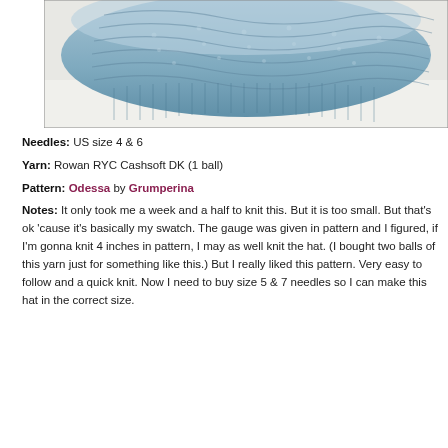[Figure (photo): Close-up photograph of a blue/steel-colored knitted hat showing cable and textured stitch pattern, laid flat on a white surface.]
Needles: US size 4 & 6
Yarn: Rowan RYC Cashsoft DK (1 ball)
Pattern: Odessa by Grumperina
Notes: It only took me a week and a half to knit this. But it is too small. But that's ok 'cause it's basically my swatch. The gauge was given in pattern and I figured, if I'm gonna knit 4 inches in pattern, I may as well knit the hat. (I bought two balls of this yarn just for something like this.) But I really liked this pattern. Very easy to follow and a quick knit. Now I need to buy size 5 & 7 needles so I can make this hat in the correct size.